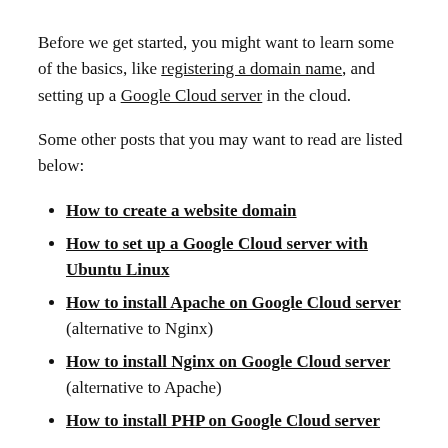Before we get started, you might want to learn some of the basics, like registering a domain name, and setting up a Google Cloud server in the cloud.
Some other posts that you may want to read are listed below:
How to create a website domain
How to set up a Google Cloud server with Ubuntu Linux
How to install Apache on Google Cloud server (alternative to Nginx)
How to install Nginx on Google Cloud server (alternative to Apache)
How to install PHP on Google Cloud server
How to install MySQL or MariaDB database server